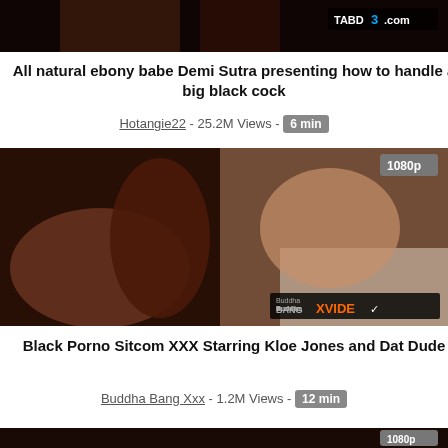[Figure (screenshot): Video thumbnail for 'All natural ebony babe Demi Sutra presenting how to handle a big black cock', with TABOD3.com watermark]
All natural ebony babe Demi Sutra presenting how to handle a big black cock
Hotangie22 - 25.2M Views - 6 min
[Figure (screenshot): Video thumbnail for 'Black Porno Sitcom XXX Starring Kloe Jones and Dat Dude', 1080p badge, Buddha Bang XVIDEO watermark]
Black Porno Sitcom XXX Starring Kloe Jones and Dat Dude
Buddha Bang Xxx - 1.2M Views - 12 min
[Figure (screenshot): Partial video thumbnail with 1080p badge at bottom of page]